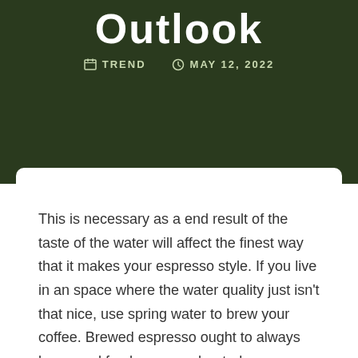Outlook
TREND   MAY 12, 2022
This is necessary as a end result of the taste of the water will affect the finest way that it makes your espresso style. If you live in an space where the water quality just isn't that nice, use spring water to brew your coffee. Brewed espresso ought to always be served fresh, never reheated.